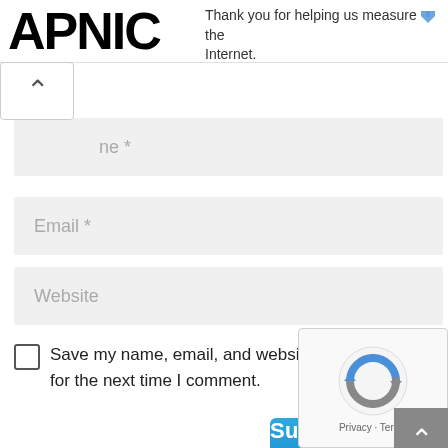APNIC — Thank you for helping us measure the Internet.
ne *
Email *
Website
Save my name, email, and website in this browser for the next time I comment.
Submit Comment
[Figure (logo): reCAPTCHA badge with spinning arrows logo and Privacy - Terms text]